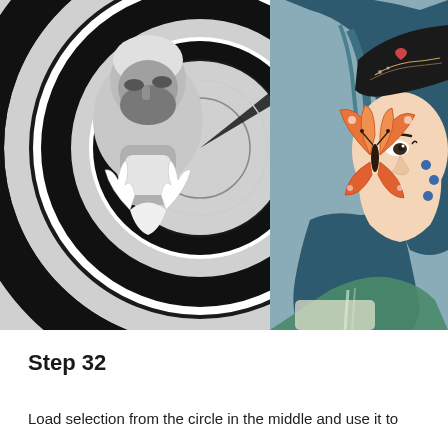[Figure (photo): Composite image: black and white photo of a man with beard looking up with large concentric circle target graphic overlay on left side; color photo of a woman with blue hair, orange butterfly hair accessory, blue dot face paint, and decorative black headband on right side.]
Step 32
Load selection from the circle in the middle and use it to